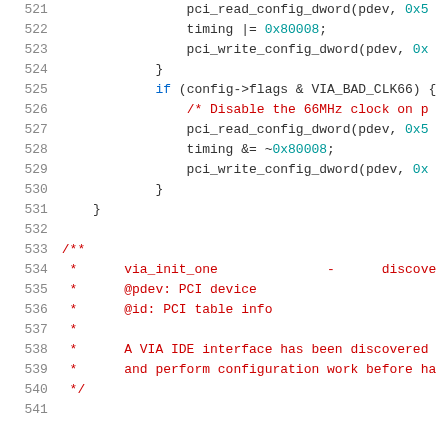[Figure (screenshot): Source code listing showing lines 521-541 of a C file. Lines 521-531 contain conditional logic for enabling/disabling 66MHz clock with PCI config read/write calls. Lines 533-540 contain a Doxygen-style comment block for via_init_one function describing a VIA IDE interface discovery routine.]